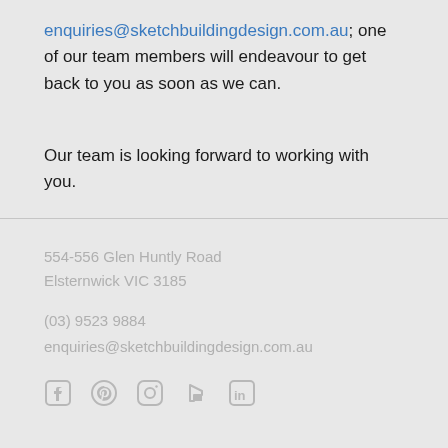enquiries@sketchbuildingdesign.com.au; one of our team members will endeavour to get back to you as soon as we can.
Our team is looking forward to working with you.
554-556 Glen Huntly Road
Elsternwick VIC 3185

(03) 9523 9884
enquiries@sketchbuildingdesign.com.au